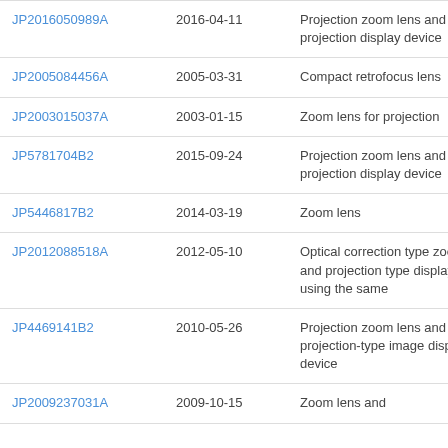| JP2016050989A | 2016-04-11 | Projection zoom lens and projection display device |
| JP2005084456A | 2005-03-31 | Compact retrofocus lens |
| JP2003015037A | 2003-01-15 | Zoom lens for projection |
| JP5781704B2 | 2015-09-24 | Projection zoom lens and projection display device |
| JP5446817B2 | 2014-03-19 | Zoom lens |
| JP2012088518A | 2012-05-10 | Optical correction type zoom lens and projection type display device using the same |
| JP4469141B2 | 2010-05-26 | Projection zoom lens and projection-type image display device |
| JP2009237031A | 2009-10-15 | Zoom lens and |